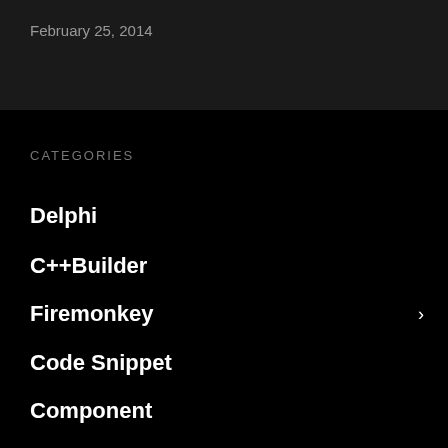February 25, 2014
CATEGORIES
Delphi
C++Builder
Firemonkey
Code Snippet
Component
Demo
IDE
Library